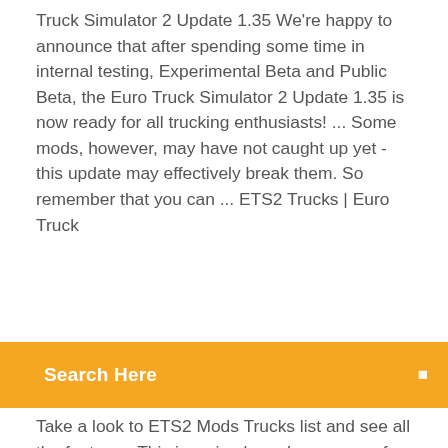Truck Simulator 2 Update 1.35 We're happy to announce that after spending some time in internal testing, Experimental Beta and Public Beta, the Euro Truck Simulator 2 Update 1.35 is now ready for all trucking enthusiasts! ... Some mods, however, may have not caught up yet - this update may effectively break them. So remember that you can ... ETS2 Trucks | Euro Truck
Search Here
Take a look to ETS2 Mods Trucks list and see all the features. This is a simple and easy way of upgrading the playing strategy. If you want to become more successful player, choose Euro truck simulator 2 Trucks Mods download and get more ... Euro Truck Simulator 2 mods, ETS 2 mods 14 Apr 2016 ... Euro Truck Simulator 2 mods, ETS 2 mods, downloads, Cars and ... Volkswagen Golf 7 GTI 1.35 ... START MONEY AND XP FOR ETS2 1.35 Part 5 - ETS 2 mods
Site photoshop gratuit en ligne